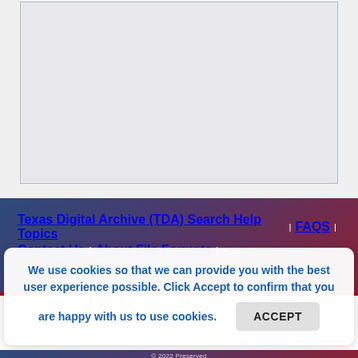[Figure (other): Gray content box area, mostly empty, representing a document viewer or search results panel]
Texas Digital Archive (TDA) Search Help Topics | FAQS | Contact Us | About File Formats | ♥
We use cookies so that we can provide you with the best user experience possible. Click Accept to confirm that you are happy with us to use cookies. ACCEPT
© 2022 Preserved